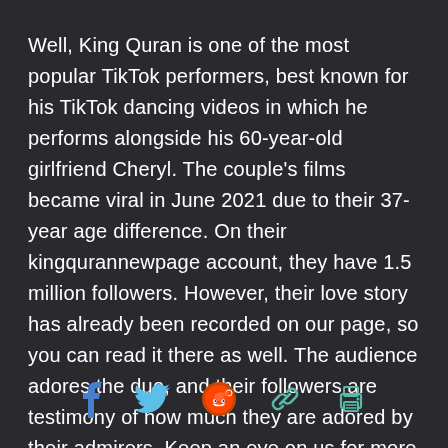Well, King Quran is one of the most popular TikTok performers, best known for his TikTok dancing videos in which he performs alongside his 60-year-old girlfriend Cheryl. The couple's films became viral in June 2021 due to their 37-year age difference. On their kingqurannewpage account, they have 1.5 million followers. However, their love story has already been recorded on our page, so you can read it there as well. The audience adores the duo, and their followers are testimony of how much they are adored by their admirers. Keep an eye on us for more viral news updates.
[Figure (infographic): Social sharing icons row: Facebook (blue), Twitter (light blue), Reddit (orange-red), Link/chain (teal), Print (teal)]